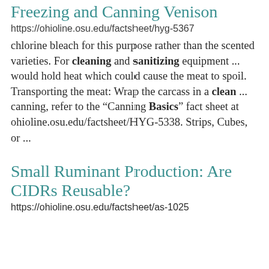Freezing and Canning Venison
https://ohioline.osu.edu/factsheet/hyg-5367
chlorine bleach for this purpose rather than the scented varieties. For cleaning and sanitizing equipment ... would hold heat which could cause the meat to spoil. Transporting the meat: Wrap the carcass in a clean ... canning, refer to the “Canning Basics” fact sheet at ohioline.osu.edu/factsheet/HYG-5338. Strips, Cubes, or ...
Small Ruminant Production: Are CIDRs Reusable?
https://ohioline.osu.edu/factsheet/as-1025